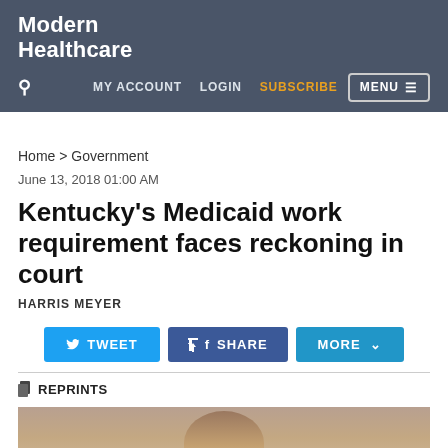Modern Healthcare
MY ACCOUNT   LOGIN   SUBSCRIBE   MENU
Home › Government
June 13, 2018 01:00 AM
Kentucky's Medicaid work requirement faces reckoning in court
HARRIS MEYER
TWEET   SHARE   MORE
REPRINTS
[Figure (photo): Photo of a person, partially visible, cropped at the bottom of the page]